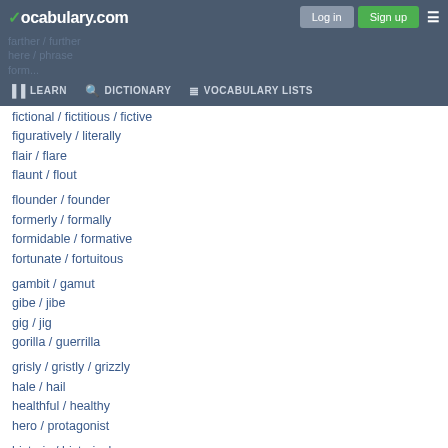vocabulary.com — Log in | Sign up | LEARN | DICTIONARY | VOCABULARY LISTS
fictional / fictitious / fictive
figuratively / literally
flair / flare
flaunt / flout
flounder / founder
formerly / formally
formidable / formative
fortunate / fortuitous
gambit / gamut
gibe / jibe
gig / jig
gorilla / guerrilla
grisly / gristly / grizzly
hale / hail
healthful / healthy
hero / protagonist
historic / historical
hoard / horde
homonym / homophone / homograph